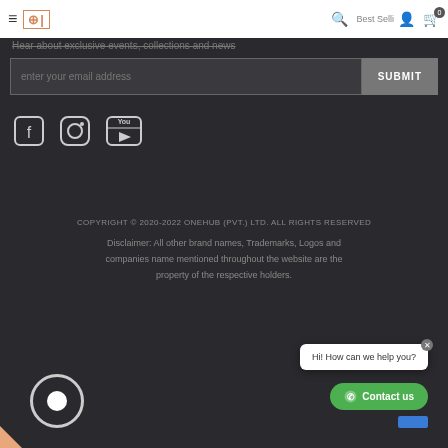≡ ⊕| [search] [account] [0 cart]
Hear about exclusive events, collections and news
enter your email address  SUBMIT
[Figure (illustration): Social media icons: Facebook, Instagram, YouTube]
COPYRIGHT © 2020-2022 ONEHUB (PVT.) LTD. ALL RIGHTS RESERVED
Disclaimer: All other brand names, Trademarks, Logos and companies name mentioned throughout the website are the property of the respective holders.
[Figure (other): Chat widget with 'Hi! How can we help you?' popup and green 'Contact us' button]